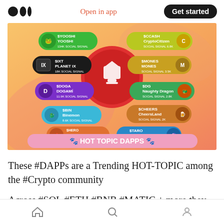Medium logo | Open in app | Get started
[Figure (infographic): Hot Topic DAPPs infographic showing trending crypto DAPPs with social signal counts: $YOOSHI YOOSHI 134K, $IXT PLANET IX 18K, $DOGA DOGAMI 11.9K, $BIN Binemon 8.6K, $HERO Gunfire Hero 6.5K, $CCASH CryptoCitizen 6.8K, $MONES MONES 3.5K, $DG Naughty Dragon 2.8K, $CHEERS CheersLand 2K, $TARO Taroverse 1.7K. Central red circle with white trophy/pot icon. Bottom banner reads HOT TOPIC DAPPS]
These #DAPPs are a Trending HOT-TOPIC among the #Crypto community
Across #SOL #ETH #BNB #MATIC + more they
Home | Search | Profile